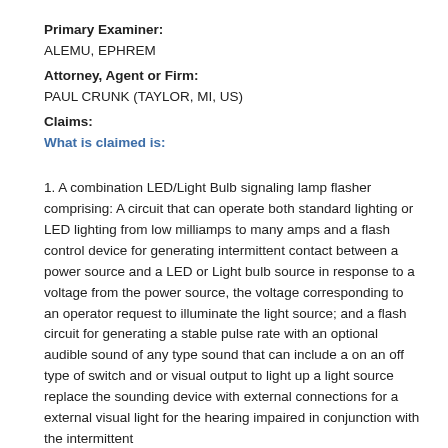Primary Examiner:
ALEMU, EPHREM
Attorney, Agent or Firm:
PAUL CRUNK (TAYLOR, MI, US)
Claims:
What is claimed is:
1. A combination LED/Light Bulb signaling lamp flasher comprising: A circuit that can operate both standard lighting or LED lighting from low milliamps to many amps and a flash control device for generating intermittent contact between a power source and a LED or Light bulb source in response to a voltage from the power source, the voltage corresponding to an operator request to illuminate the light source; and a flash circuit for generating a stable pulse rate with an optional audible sound of any type sound that can include a on an off type of switch and or visual output to light up a light source replace the sounding device with external connections for a external visual light for the hearing impaired in conjunction with the intermittent